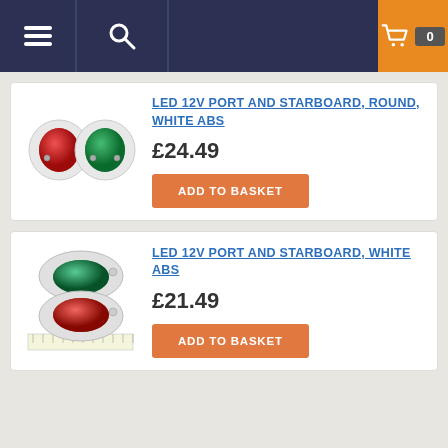Navigation bar with menu, search, cart (0 items)
[Figure (photo): Two round white ABS navigation lights - one red (port) and one green (starboard)]
LED 12V PORT AND STARBOARD, ROUND, WHITE ABS
£24.49
ADD TO BASKET
[Figure (photo): Two oval white ABS navigation lights - one green (starboard, top) and one red (port, bottom), photographed on a ruler]
LED 12V PORT AND STARBOARD, WHITE ABS
£21.49
ADD TO BASKET